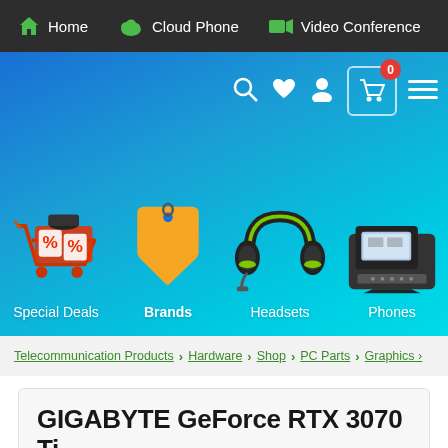Home | Cloud Phone | Video Conference
[Figure (screenshot): Blue banner with search, heart, user, cart (badge 0), and hamburger menu icons in top right; four category icons below: Special Deals (shopping cart with percent tags), Brands (orange price tag), Headsets (black and green gaming headset), Phones (desk IP phone)]
Special Deals
Brands
Headsets
Phones
Telecommunication Products > Hardware > Shop > PC Parts > Graphics
GIGABYTE GeForce RTX 3070 Ti